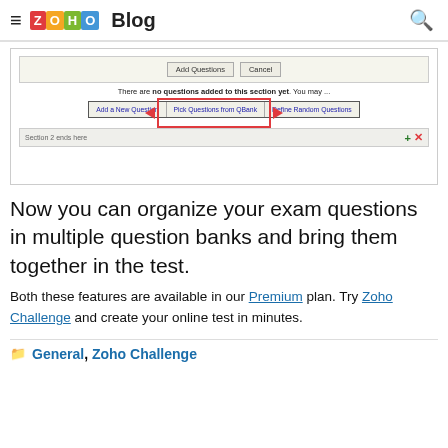≡ ZOHO Blog 🔍
[Figure (screenshot): Screenshot of a quiz/exam builder interface showing 'Add Questions' and 'Cancel' buttons at top, a notice 'There are no questions added to this section yet. You may...', three buttons: 'Add a New Question', 'Pick Questions from QBank' (highlighted with red box), 'Define Random Questions', and a 'Section 2 ends here' bar at bottom with + and x icons.]
Now you can organize your exam questions in multiple question banks and bring them together in the test.
Both these features are available in our Premium plan. Try Zoho Challenge and create your online test in minutes.
General, Zoho Challenge